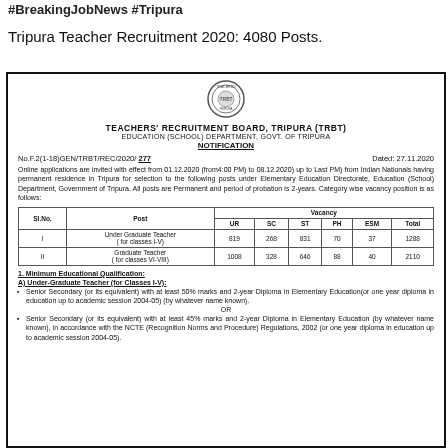#BreakingJobNews #Tripura
Tripura Teacher Recruitment 2020: 4080 Posts.
[Figure (logo): Seal/emblem of Teachers' Recruitment Board, Tripura (TRBT)]
TEACHERS' RECRUITMENT BOARD, TRIPURA (TRBT)
EDUCATION (SCHOOL) DEPARTMENT, GOVT. OF TRIPURA
NOTIFICATION
No.F.2(1-18)GEN/TRBT/REC/2020/ 277        Dated: 27.11.2020
Online applications are invited with effect from 01.12.2020 (from4:00 PM) to 08.12.2020) up to Last PM) from Indian Nationals having permanent residence in Tripura for selection to the following posts under Elementary Education Directorate, Education (School) Department, Government of Tripura. All posts are Permanent and period of probation is 2-years. Category wise vacancy position is as follows:
| Sl.No. | Post | UR | SC | ST | PH | ESM | Total |
| --- | --- | --- | --- | --- | --- | --- | --- |
| I | Under Graduate Teacher (for classes I-V) | 819 | 268 | 831 | 70 | 37 | 1288 |
| II | Graduate Teacher (for classes VI-VIII) | 1008 | 328 | 646 | 88 | 40 | 2110 |
1. Minimum Educational Qualification:
A) Under-Graduate Teacher (for Classes I-V):
Senior Secondary (or its equivalent) with at least 50% marks and 2-year Diploma in Elementary Education(or one year diploma in education up to academic session 2004-05) (by whatever name known).
OR
Senior Secondary (or its equivalent) with at least 45% marks and 2-year Diploma in Elementary Education (by whatever name known), in accordance with the NCTE (Recognition Norms and Procedure) Regulations, 2002 (or one year diploma in education up to academic session 2004-05).